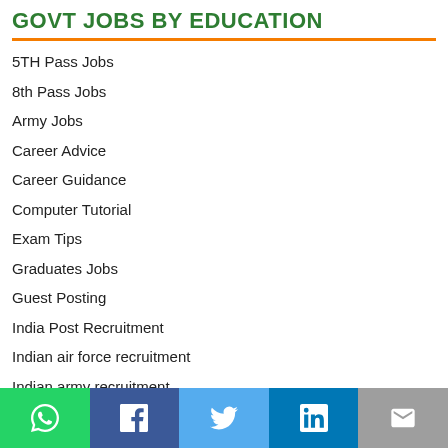GOVT JOBS BY EDUCATION
5TH Pass Jobs
8th Pass Jobs
Army Jobs
Career Advice
Career Guidance
Computer Tutorial
Exam Tips
Graduates Jobs
Guest Posting
India Post Recruitment
Indian air force recruitment
Indian army recruitment
Indian Forest Department
[Figure (infographic): Social sharing bar with WhatsApp, Facebook, Twitter, LinkedIn, and Email buttons]